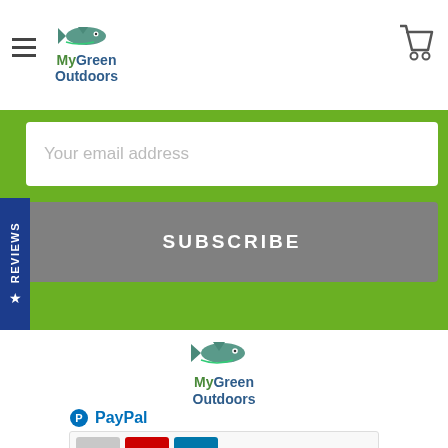[Figure (logo): MyGreen Outdoors logo with fish graphic in top navigation bar]
[Figure (screenshot): Shopping cart icon in top right of navigation bar]
Your email address
SUBSCRIBE
REVIEWS
[Figure (logo): MyGreen Outdoors logo centered in white section below green banner]
[Figure (logo): PayPal logo and payment card icons at bottom of page]